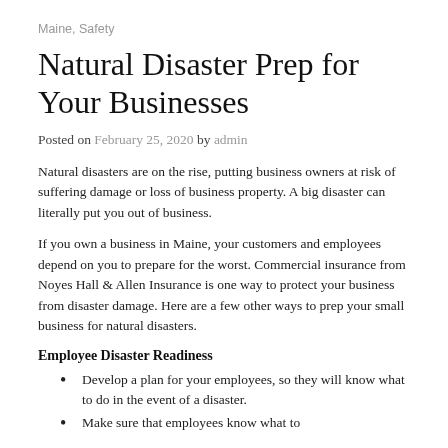Maine, Safety
Natural Disaster Prep for Your Businesses
Posted on February 25, 2020 by admin
Natural disasters are on the rise, putting business owners at risk of suffering damage or loss of business property. A big disaster can literally put you out of business.
If you own a business in Maine, your customers and employees depend on you to prepare for the worst. Commercial insurance from Noyes Hall & Allen Insurance is one way to protect your business from disaster damage. Here are a few other ways to prep your small business for natural disasters.
Employee Disaster Readiness
Develop a plan for your employees, so they will know what to do in the event of a disaster.
Make sure that employees know what to...